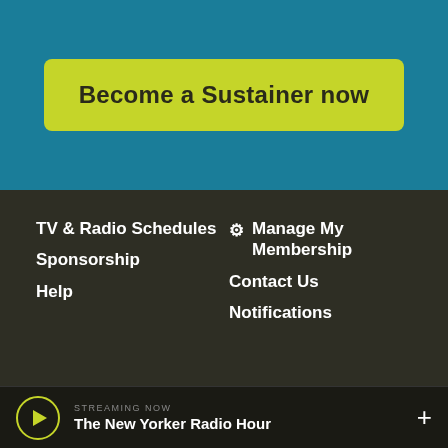Become a Sustainer now
TV & Radio Schedules
Sponsorship
Help
Manage My Membership
Contact Us
Notifications
Privacy Policy
FCC Applications
Editorial Policy
Contest Rules
FCC Public Files
Terms of Use
SMS T&C
Accessibility
STREAMING NOW
The New Yorker Radio Hour